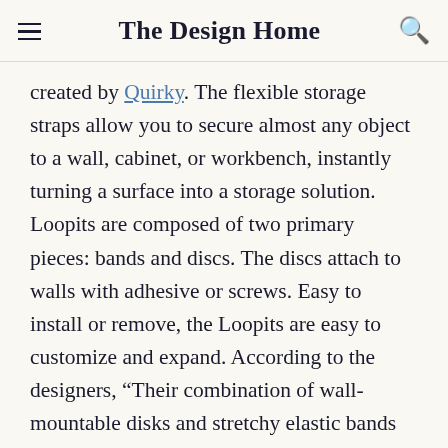The Design Home
created by Quirky. The flexible storage straps allow you to secure almost any object to a wall, cabinet, or workbench, instantly turning a surface into a storage solution. Loopits are composed of two primary pieces: bands and discs. The discs attach to walls with adhesive or screws. Easy to install or remove, the Loopits are easy to customize and expand. According to the designers, “Their combination of wall-mountable disks and stretchy elastic bands allow for ultimate customization, enabling you to craft a setup to suit your exact needs. Suspend shampoo in the shower, ketchup in the fridge, toothbrushes in the